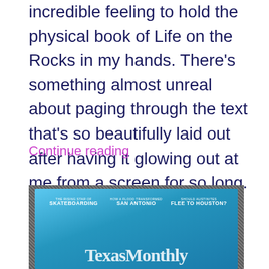incredible feeling to hold the physical book of Life on the Rocks in my hands. There’s something almost unreal about paging through the text that’s so beautifully laid out after having it glowing out at me from a screen for so long. This book holds a …
Continue reading
[Figure (photo): A Texas Monthly magazine cover placed on a dark mesh/grid surface. The cover is blue with white text reading 'TexasMonthly' in large serif font. Above the title are headlines: 'THE RISING STAR OF SKATEBOARDING', 'HOW A FLOOD TRANSFORMED SAN ANTONIO', 'SHOULD AUSTINITES FLEE TO HOUSTON?']